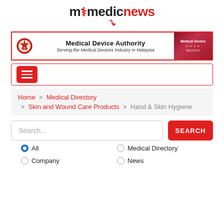[Figure (logo): MyMedicNews logo with stethoscope icon in red]
[Figure (screenshot): Medical Device Authority banner — Serving the Medical Devices Industry in Malaysia, with Malaysian coat of arms and Medical Device logo]
[Figure (screenshot): Navigation hamburger menu button in red]
Home > Medical Directory > Skin and Wound Care Products > Hand & Skin Hygiene
Search... [search button] All | Medical Directory | Company | News